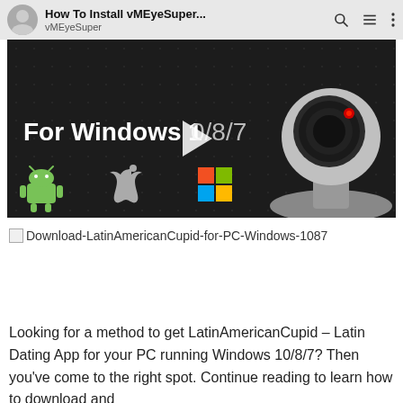[Figure (screenshot): YouTube app top bar showing 'How To Install vMEyeSuper...' title with vMEyeSuper channel name, search icon, menu icon, and three-dot menu icon. Below is a video thumbnail with dark background showing text 'For Windows 10/8/7', a play button, a webcam image on the right, and Android, Apple, and Windows logos at the bottom.]
Download-LatinAmericanCupid-for-PC-Windows-1087
Looking for a method to get LatinAmericanCupid – Latin Dating App for your PC running Windows 10/8/7? Then you've come to the right spot. Continue reading to learn how to download and